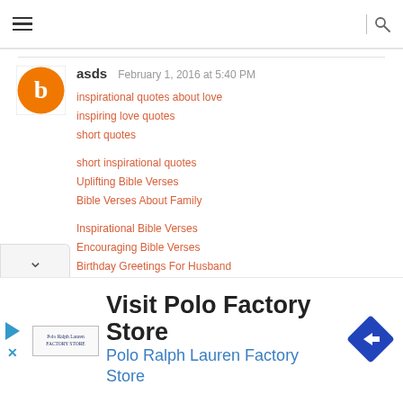Navigation bar with hamburger menu and search icon
asds   February 1, 2016 at 5:40 PM
inspirational quotes about love
inspiring love quotes
short quotes
short inspirational quotes
Uplifting Bible Verses
Bible Verses About Family
Inspirational Bible Verses
Encouraging Bible Verses
Birthday Greetings For Husband
good night quotes
happy mothers day quotes
Inspirational Business Quotes
[Figure (screenshot): Advertisement for Visit Polo Factory Store - Polo Ralph Lauren Factory Store with logo, arrow icon, play and close buttons]
Visit Polo Factory Store
Polo Ralph Lauren Factory Store